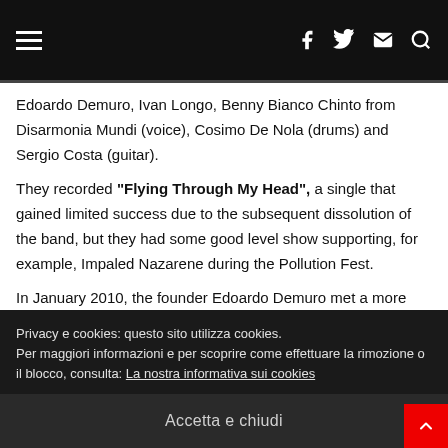navigation bar with hamburger menu, facebook, twitter, mail and search icons
Edoardo Demuro, Ivan Longo, Benny Bianco Chinto from Disarmonia Mundi (voice), Cosimo De Nola (drums) and Sergio Costa (guitar). They recorded "Flying Through My Head", a single that gained limited success due to the subsequent dissolution of the band, but they had some good level show supporting, for example, Impaled Nazarene during the Pollution Fest. In January 2010, the founder Edoardo Demuro met a more steady line up: Luca Pellegrino from Highlord (drums), Lorenzo Asselli (guitar), Daniele Veronese (bass guitar) and the young
Privacy e cookies: questo sito utilizza cookies.
Per maggiori informazioni e per scoprire come effettuare la rimozione o il blocco, consulta: La nostra informativa sui cookies
Accetta e chiudi